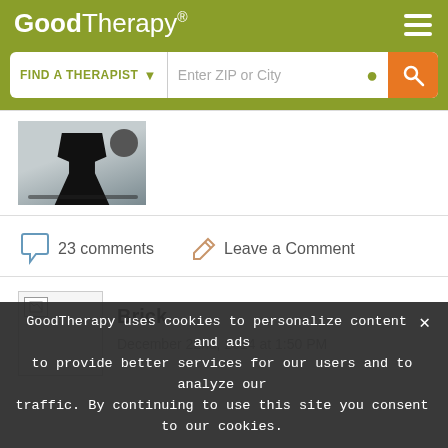GoodTherapy®
FIND A THERAPIST ▾ Enter ZIP or City 🔍
[Figure (photo): Black and white photo of an office chair at a desk, partially visible]
23 comments   Leave a Comment
[Figure (photo): Broken/placeholder image thumbnail for user avatar]
Brick
December 22nd, 2014 at 1:50 PM
GoodTherapy uses cookies to personalize content and ads to provide better services for our users and to analyze our traffic. By continuing to use this site you consent to our cookies.